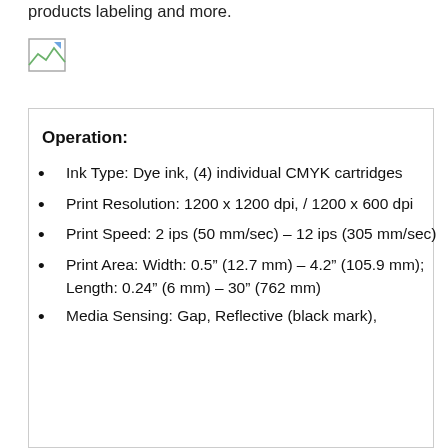products labeling and more.
[Figure (illustration): Small broken image icon placeholder]
Operation:
Ink Type: Dye ink, (4) individual CMYK cartridges
Print Resolution: 1200 x 1200 dpi, / 1200 x 600 dpi
Print Speed: 2 ips (50 mm/sec) – 12 ips (305 mm/sec)
Print Area: Width: 0.5" (12.7 mm) – 4.2" (105.9 mm); Length: 0.24" (6 mm) – 30" (762 mm)
Media Sensing: Gap, Reflective (black mark), Conti...